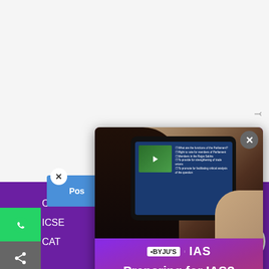[Figure (screenshot): BYJU'S IAS popup modal overlay on a webpage. Shows a person studying on a tablet, with BYJU'S IAS branding, text 'Preparing for IAS?' and '100+ hours of Free Prep Material on History, Polity & more!', and a Register button.]
BYJU'S | IAS
Preparing for IAS?
100+ hours of Free Prep Material on History, Polity & more!
Regist...
Hi there! Got any questions? I can help you...
CBSE
ICSE
CAT
CAT Exam
GATE Exam
IAS Exam